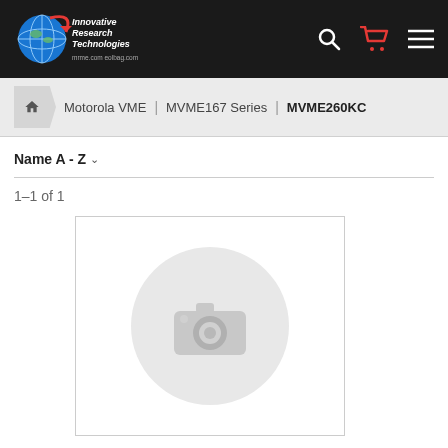Innovative Research Technologies — mrme.com   eolbag.com
Motorola VME | MVME167 Series | MVME260KC
Name A - Z
1–1 of 1
[Figure (photo): Product placeholder image — grey circle with camera icon indicating no image available]